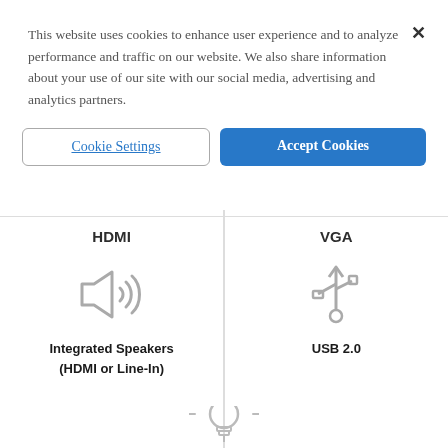This website uses cookies to enhance user experience and to analyze performance and traffic on our website. We also share information about your use of our site with our social media, advertising and analytics partners.
[Figure (screenshot): Cookie Settings button (outlined) and Accept Cookies button (blue filled)]
| HDMI | VGA |
| --- | --- |
| Integrated Speakers (HDMI or Line-In) | USB 2.0 |
[Figure (illustration): Speaker icon with sound waves on left, USB symbol on right]
[Figure (illustration): Partial light bulb / lamp icon visible at bottom]